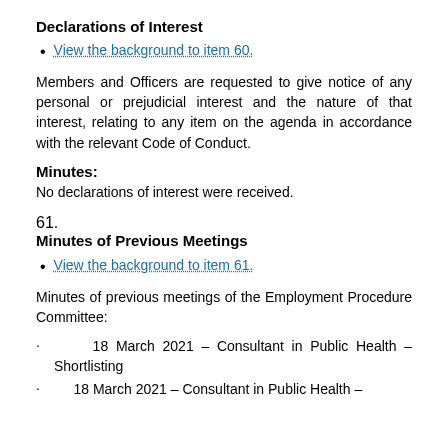Declarations of Interest
View the background to item 60.
Members and Officers are requested to give notice of any personal or prejudicial interest and the nature of that interest, relating to any item on the agenda in accordance with the relevant Code of Conduct.
Minutes:
No declarations of interest were received.
61.
Minutes of Previous Meetings
View the background to item 61.
Minutes of previous meetings of the Employment Procedure Committee:
18 March 2021 – Consultant in Public Health – Shortlisting
18 March 2021 – Consultant in Public Health –